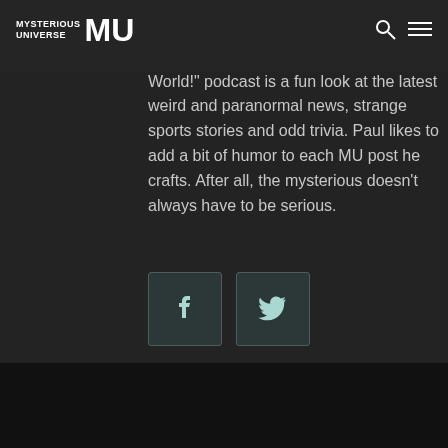MYSTERIOUS UNIVERSE MU [logo with search and menu icons]
authored numerous collections of trivia, puzzles and humor. His "What in the World!" podcast is a fun look at the latest weird and paranormal news, strange sports stories and odd trivia. Paul likes to add a bit of humor to each MU post he crafts. After all, the mysterious doesn't always have to be serious.
[Figure (other): Facebook social share button icon]
[Figure (other): Twitter social share button icon]